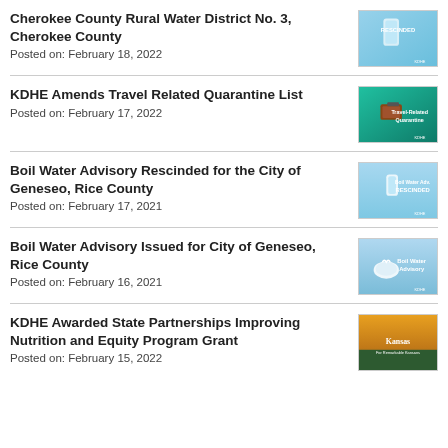Cherokee County Rural Water District No. 3, Cherokee County
Posted on: February 18, 2022
KDHE Amends Travel Related Quarantine List
Posted on: February 17, 2022
Boil Water Advisory Rescinded for the City of Geneseo, Rice County
Posted on: February 17, 2021
Boil Water Advisory Issued for City of Geneseo, Rice County
Posted on: February 16, 2021
KDHE Awarded State Partnerships Improving Nutrition and Equity Program Grant
Posted on: February 15, 2022